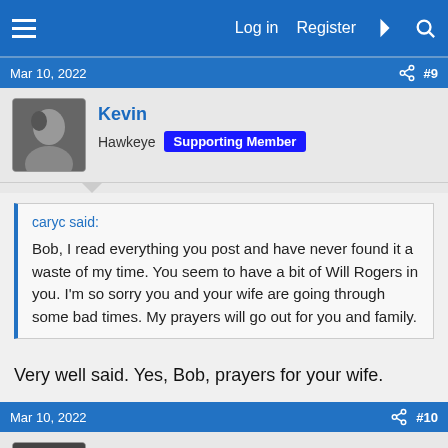Log in  Register
Mar 10, 2022  #9
Kevin
Hawkeye  Supporting Member
caryc said:
Bob, I read everything you post and have never found it a waste of my time. You seem to have a bit of Will Rogers in you. I'm so sorry you and your wife are going through some bad times. My prayers will go out for you and family.
Very well said. Yes, Bob, prayers for your wife.
Mar 10, 2022  #10
JPGLSG1234
Single-Sixer  Supporting Member